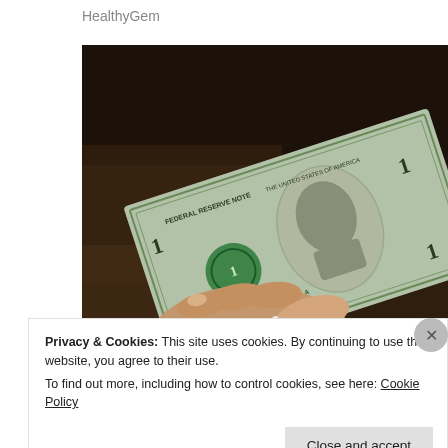HealthyGem
[Figure (photo): A hand holding a US dollar bill, close-up photo with dark blurred background]
Privacy & Cookies: This site uses cookies. By continuing to use this website, you agree to their use.
To find out more, including how to control cookies, see here: Cookie Policy
Close and accept